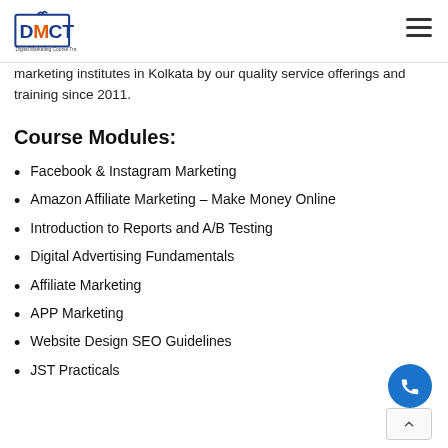DMCT Digital Marketing Course Training
marketing institutes in Kolkata by our quality service offerings and training since 2011.
Course Modules:
Facebook & Instagram Marketing
Amazon Affiliate Marketing – Make Money Online
Introduction to Reports and A/B Testing
Digital Advertising Fundamentals
Affiliate Marketing
APP Marketing
Website Design SEO Guidelines
JST Practicals